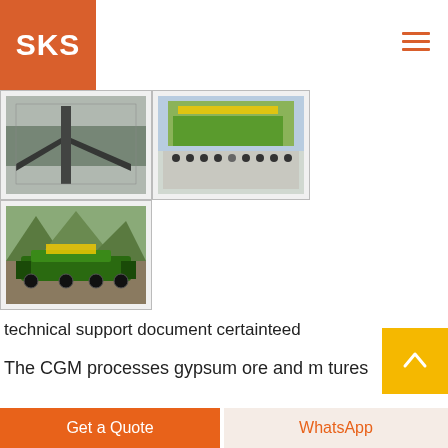SKS
[Figure (photo): Industrial conveyor belt system inside a large warehouse/factory]
[Figure (photo): Group of people posing in front of large green industrial machinery at an outdoor exhibition]
[Figure (photo): Large green mobile crushing/screening machine outdoors on a dirt/gravel site]
technical support document certainteed
The CGM processes gypsum ore and manufactures
Get a Quote
WhatsApp